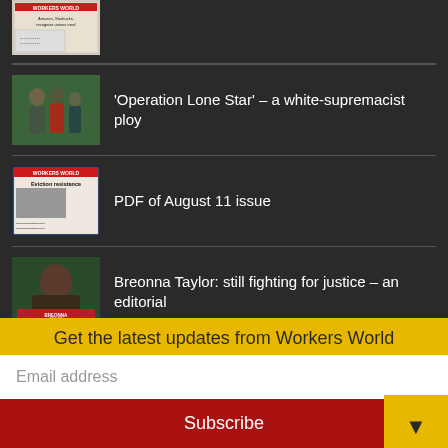[Figure (photo): Newspaper front page thumbnail showing text about Amazon, Starbucks, recognize unions now!]
[Figure (photo): Photo of people outdoors, related to Operation Lone Star article]
'Operation Lone Star' – a white-supremacist ploy
[Figure (photo): Workers World newspaper PDF thumbnail - August 11 issue, Eviction resistance headline]
PDF of August 11 issue
[Figure (photo): Portrait of Breonna Taylor with red text overlay]
Breonna Taylor: still fighting for justice – an editorial
Print issue returns
Due to the COVID-19 pandemic, Workers World suspended printing and mailing of the newspaper in March 2020. We have continued
Get the latest updates from Workers World
Email address
Subscribe